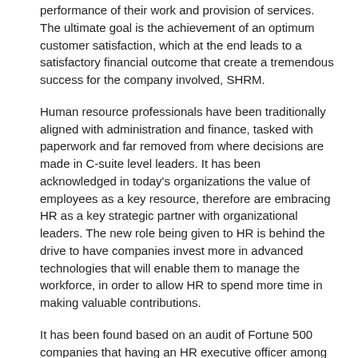performance of their work and provision of services. The ultimate goal is the achievement of an optimum customer satisfaction, which at the end leads to a satisfactory financial outcome that create a tremendous success for the company involved, SHRM.
Human resource professionals have been traditionally aligned with administration and finance, tasked with paperwork and far removed from where decisions are made in C-suite level leaders. It has been acknowledged in today's organizations the value of employees as a key resource, therefore are embracing HR as a key strategic partner with organizational leaders. The new role being given to HR is behind the drive to have companies invest more in advanced technologies that will enable them to manage the workforce, in order to allow HR to spend more time in making valuable contributions.
It has been found based on an audit of Fortune 500 companies that having an HR executive officer among the company's executive leaderships lead to high